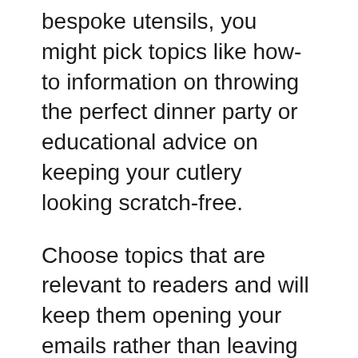bespoke utensils, you might pick topics like how-to information on throwing the perfect dinner party or educational advice on keeping your cutlery looking scratch-free.
Choose topics that are relevant to readers and will keep them opening your emails rather than leaving them unread. You don't have to think of all the topics you'll cover at once. However, it's helpful to develop an email content calendar where you plan out your content a few weeks in advance.
Determine points of email capture